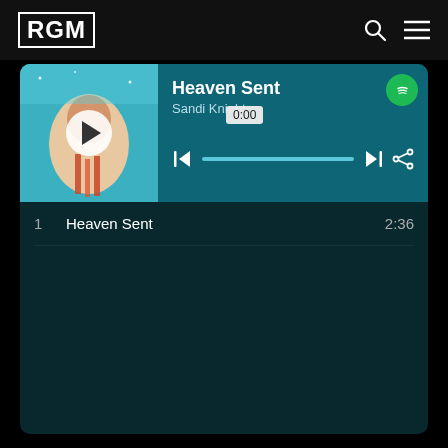RGM
[Figure (screenshot): Music player widget showing album art with play button overlay for 'Heaven Sent' by Sandi Knight, with teal/dark background. Progress bar at 0:00, Spotify icon, skip and share controls.]
Heaven Sent
Sandi Knight
0:00
1   Heaven Sent   2:36